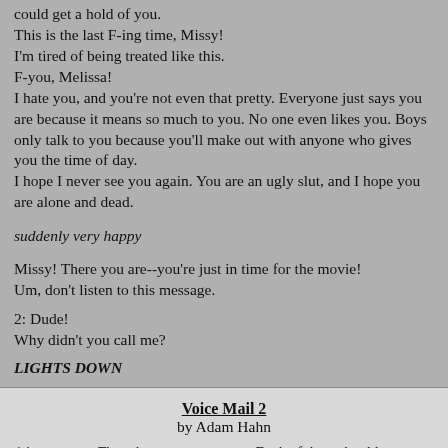could get a hold of you.
This is the last F-ing time, Missy!
I'm tired of being treated like this.
F-you, Melissa!
I hate you, and you're not even that pretty. Everyone just says you are because it means so much to you. No one even likes you. Boys only talk to you because you'll make out with anyone who gives you the time of day.
I hope I never see you again. You are an ugly slut, and I hope you are alone and dead.
suddenly very happy
Missy! There you are--you're just in time for the movie!
Um, don't listen to this message.
2: Dude!
Why didn't you call me?
LIGHTS DOWN
Voice Mail 2
by Adam Hahn
1 is on stage. The others are or are not. Each of them should